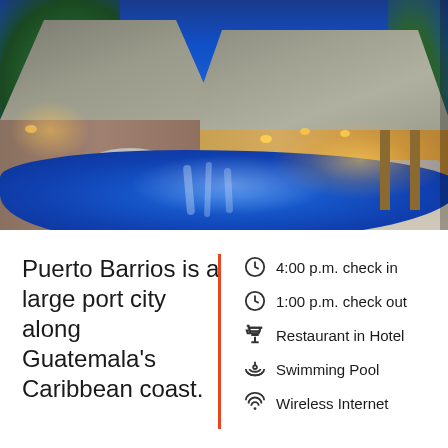[Figure (photo): Night photo of a tropical resort with thatched-roof buildings, warm lighting, a stone bridge, and a glowing blue swimming pool in the foreground. Lush greenery surrounds the buildings under a deep blue evening sky.]
Puerto Barrios is a large port city along Guatemala's Caribbean coast.
4:00 p.m. check in
1:00 p.m. check out
Restaurant in Hotel
Swimming Pool
Wireless Internet